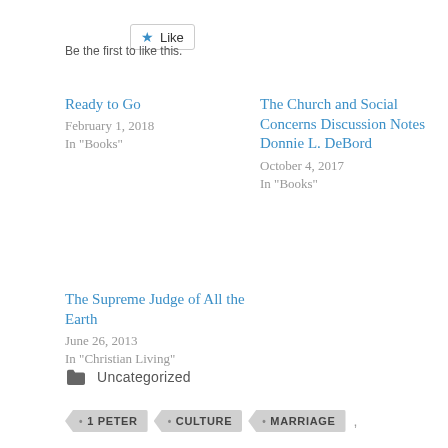[Figure (other): Like button with star icon]
Be the first to like this.
Ready to Go
February 1, 2018
In "Books"
The Church and Social Concerns Discussion Notes Donnie L. DeBord
October 4, 2017
In "Books"
The Supreme Judge of All the Earth
June 26, 2013
In "Christian Living"
Uncategorized
1 PETER   CULTURE   MARRIAGE